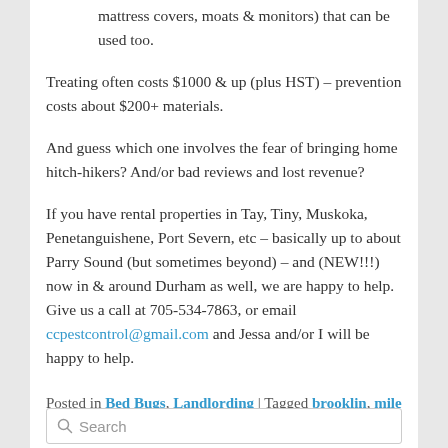mattress covers, moats & monitors) that can be used too.
Treating often costs $1000 & up (plus HST) – prevention costs about $200+ materials.
And guess which one involves the fear of bringing home hitch-hikers? And/or bad reviews and lost revenue?
If you have rental properties in Tay, Tiny, Muskoka, Penetanguishene, Port Severn, etc – basically up to about Parry Sound (but sometimes beyond) – and (NEW!!!) now in & around Durham as well, we are happy to help. Give us a call at 705-534-7863, or email ccpestcontrol@gmail.com and Jessa and/or I will be happy to help.
Posted in Bed Bugs, Landlording | Tagged brooklin, mile lake, muskoka, Oshawa, prevention, whitby